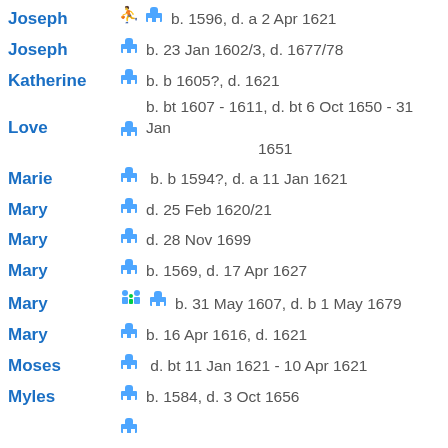Joseph  b. 1596, d. a 2 Apr 1621
Joseph  b. 23 Jan 1602/3, d. 1677/78
Katherine  b. b 1605?, d. 1621
Love  b. bt 1607 - 1611, d. bt 6 Oct 1650 - 31 Jan 1651
Marie  b. b 1594?, d. a 11 Jan 1621
Mary  d. 25 Feb 1620/21
Mary  d. 28 Nov 1699
Mary  b. 1569, d. 17 Apr 1627
Mary  b. 31 May 1607, d. b 1 May 1679
Mary  b. 16 Apr 1616, d. 1621
Moses  d. bt 11 Jan 1621 - 10 Apr 1621
Myles  b. 1584, d. 3 Oct 1656